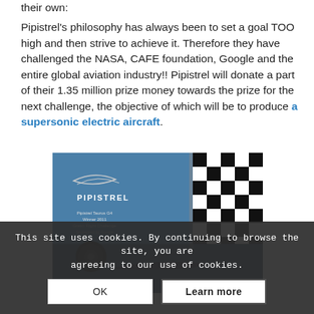their own: Pipistrel's philosophy has always been to set a goal TOO high and then strive to achieve it. Therefore they have challenged the NASA, CAFE foundation, Google and the entire global aviation industry!! Pipistrel will donate a part of their 1.35 million prize money towards the prize for the next challenge, the objective of which will be to produce a supersonic electric aircraft.
[Figure (photo): Photo of Pipistrel Taurus G4 with a checkered flag and blue sky. Text overlay reads: PIPISTREL, Pipistrel Taurus G4, Winner 2011, Green Flight Challenge, Sponsored by Google. A small circular engine/propeller image is shown in the lower left.]
This site uses cookies. By continuing to browse the site, you are agreeing to our use of cookies.